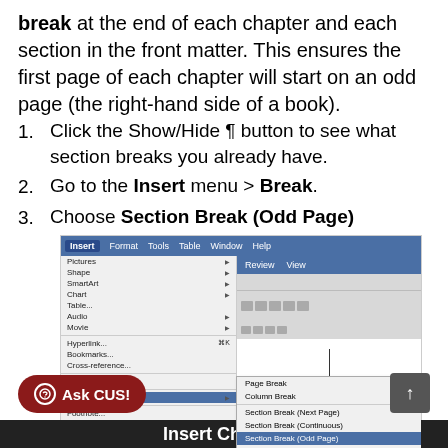break at the end of each chapter and each section in the front matter. This ensures the first page of each chapter will start on an odd page (the right-hand side of a book).
1. Click the Show/Hide ¶ button to see what section breaks you already have.
2. Go to the Insert menu > Break.
3. Choose Section Break (Odd Page)
[Figure (screenshot): Screenshot of Microsoft Word Insert menu showing Break submenu with 'Section Break (Odd Page)' highlighted in blue.]
[Figure (screenshot): Bottom navigation bar with 'Ask CUS!' button and scroll-to-top arrow, and partial text reading 'Insert Chapter']